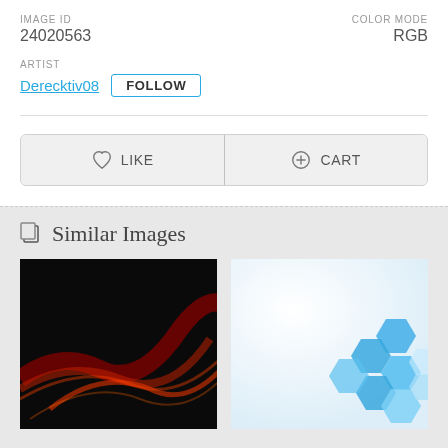IMAGE ID
24020563
COLOR MODE
RGB
ARTIST
Derecktiv08  FOLLOW
[Figure (screenshot): Like and Cart action buttons side by side in a rounded rectangle bar]
Similar Images
[Figure (photo): Dark abstract image with red glowing wave streaks on black background]
[Figure (photo): Light background with blue hexagon geometric shapes in the lower right corner]